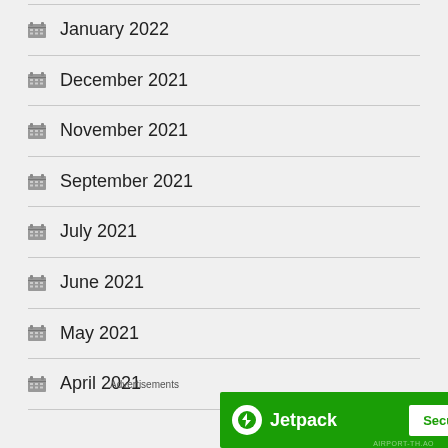January 2022
December 2021
November 2021
September 2021
July 2021
June 2021
May 2021
April 2021
Advertisements
[Figure (other): Jetpack advertisement banner with logo and 'Secure Your Site' button on green background]